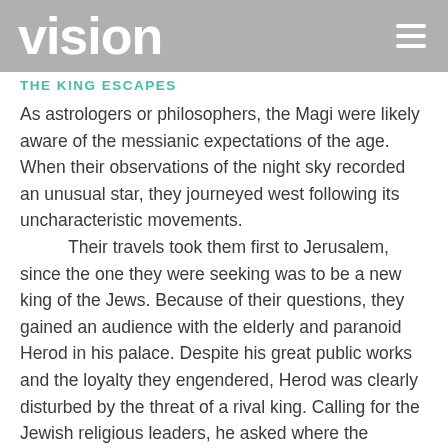vision
THE KING ESCAPES
As astrologers or philosophers, the Magi were likely aware of the messianic expectations of the age. When their observations of the night sky recorded an unusual star, they journeyed west following its uncharacteristic movements.
	Their travels took them first to Jerusalem, since the one they were seeking was to be a new king of the Jews. Because of their questions, they gained an audience with the elderly and paranoid Herod in his palace. Despite his great public works and the loyalty they engendered, Herod was clearly disturbed by the threat of a rival king. Calling for the Jewish religious leaders, he asked where the Messiah was to be born. "'In Bethlehem in Judea,' they replied, 'for this is what the prophet has written'" (verse 5).